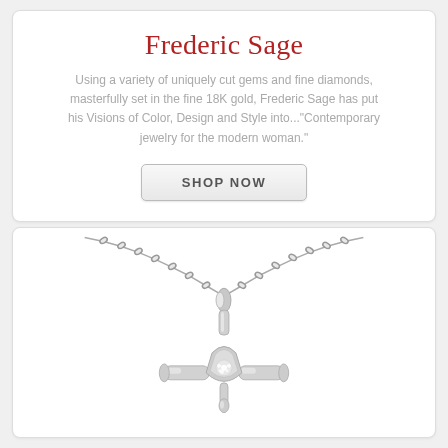Frederic Sage
Using a variety of uniquely cut gems and fine diamonds, masterfully set in the fine 18K gold, Frederic Sage has put his Visions of Color, Design and Style into..."Contemporary jewelry for the modern woman."
SHOP NOW
[Figure (photo): A white gold cross pendant necklace with diamonds set in the center, hanging on a delicate chain, photographed on white background.]